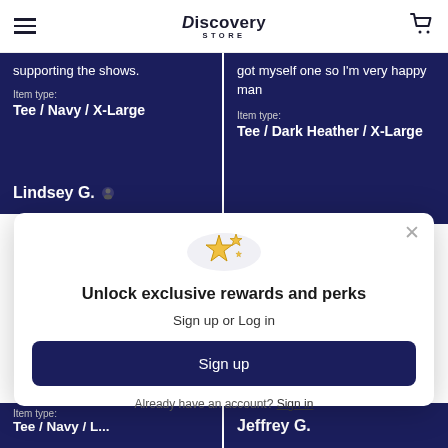Discovery Store
supporting the shows.
Item type: Tee / Navy / X-Large
got myself one so I'm very happy man
Item type: Tee / Dark Heather / X-Large
Lindsey G.
[Figure (infographic): Modal popup with sparkle star icon, title 'Unlock exclusive rewards and perks', subtitle 'Sign up or Log in', a Sign up button, and 'Already have an account? Sign in' text with close X button]
Item type:
Tee / Navy / L...
Jeffrey G.